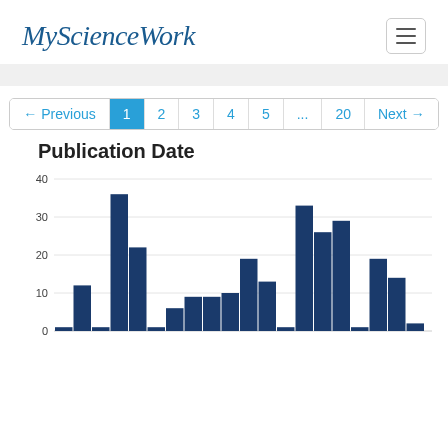MyScienceWork
[Figure (other): Hamburger menu button icon]
[Figure (histogram): Publication Date]